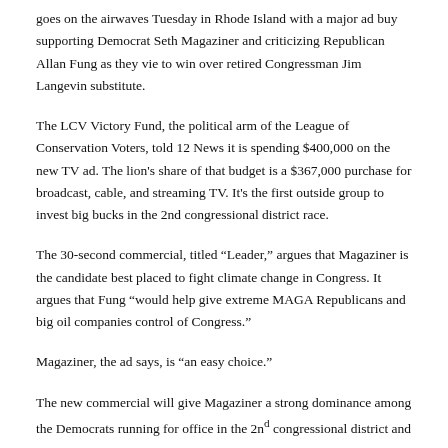goes on the airwaves Tuesday in Rhode Island with a major ad buy supporting Democrat Seth Magaziner and criticizing Republican Allan Fung as they vie to win over retired Congressman Jim Langevin substitute.
The LCV Victory Fund, the political arm of the League of Conservation Voters, told 12 News it is spending $400,000 on the new TV ad. The lion's share of that budget is a $367,000 purchase for broadcast, cable, and streaming TV. It's the first outside group to invest big bucks in the 2nd congressional district race.
The 30-second commercial, titled "Leader," argues that Magaziner is the candidate best placed to fight climate change in Congress. It argues that Fung "would help give extreme MAGA Republicans and big oil companies control of Congress."
Magaziner, the ad says, is "an easy choice."
The new commercial will give Magaziner a strong dominance among the Democrats running for office in the 2nd congressional district and comes on